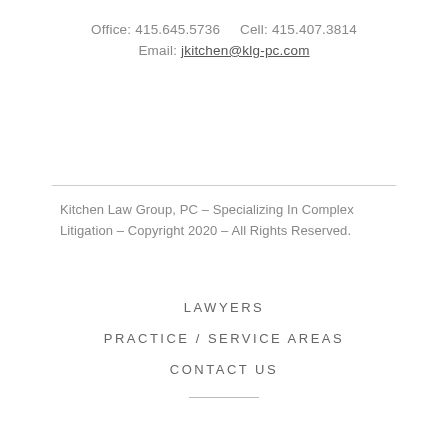Office: 415.645.5736     Cell: 415.407.3814
Email: jkitchen@klg-pc.com
Kitchen Law Group, PC - Specializing In Complex Litigation - Copyright 2020 - All Rights Reserved.
LAWYERS
PRACTICE / SERVICE AREAS
CONTACT US